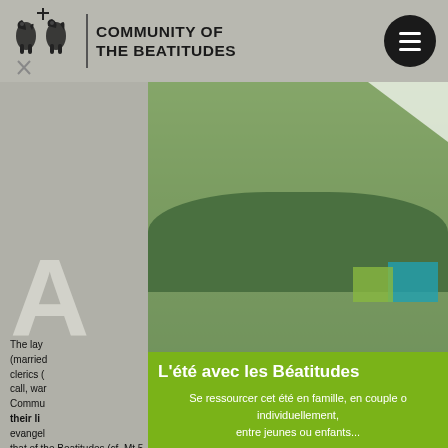COMMUNITY OF THE BEATITUDES
A
The lay (married clerics ( call, war Community their li evangel that of the Beatitudes (cf. Mt 5, 3-12), in order to be
[Figure (photo): Photo of a man with a child on his shoulders, outdoors with greenery in background. Year 2022 displayed in yellow stylized text in the upper right corner.]
L'été avec les Béatitudes
Se ressourcer cet été en famille, en couple o individuellement, entre jeunes ou enfants...
DÉCOUVRIR